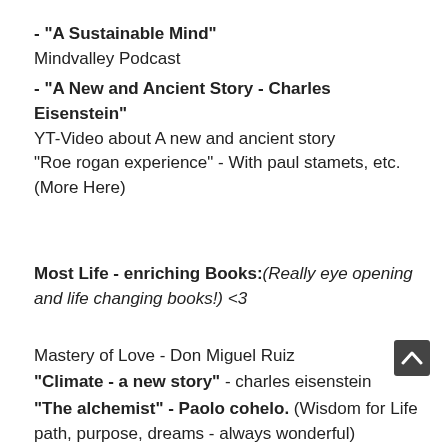- "A Sustainable Mind"
Mindvalley Podcast
- "A New and Ancient Story - Charles Eisenstein"
YT-Video about A new and ancient story
"Roe rogan experience" - With paul stamets, etc.
(More Here)
Most Life - enriching Books:(Really eye opening and life changing books!) <3
Mastery of Love - Don Miguel Ruiz
"Climate - a new story" - charles eisenstein
"The alchemist" - Paolo cohelo. (Wisdom for Life path, purpose, dreams - always wonderful)
The celestine prophecy
"conversations with god" - Neale donald walsch